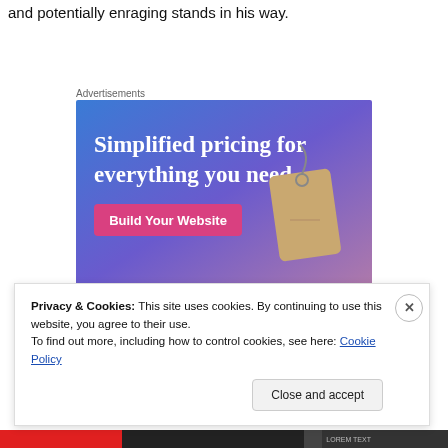and potentially enraging stands in his way.
Advertisements
[Figure (illustration): Advertisement banner with gradient blue-purple background showing a price tag. Text reads 'Simplified pricing for everything you need.' with a pink 'Build Your Website' button.]
Privacy & Cookies: This site uses cookies. By continuing to use this website, you agree to their use.
To find out more, including how to control cookies, see here: Cookie Policy